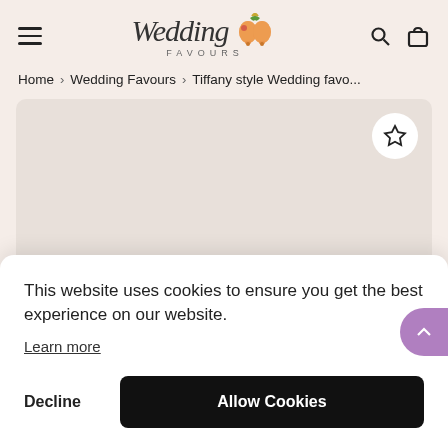[Figure (logo): Wedding Favours logo with script 'Wedding' text, decorative bells with bow, and 'FAVOURS' text below]
Home  >  Wedding Favours  >  Tiffany style Wedding favo...
[Figure (photo): Product image area (beige/taupe background) with a star/wishlist button in top right corner]
This website uses cookies to ensure you get the best experience on our website.
Learn more
Decline
Allow Cookies